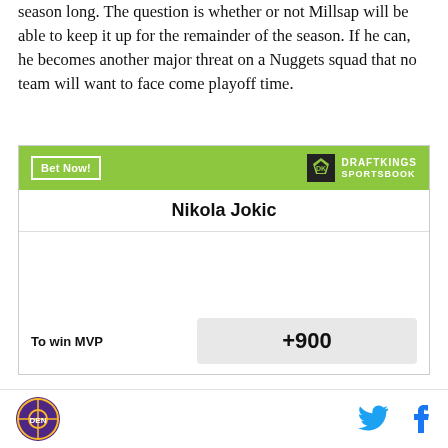season long. The question is whether or not Millsap will be able to keep it up for the remainder of the season. If he can, he becomes another major threat on a Nuggets squad that no team will want to face come playoff time.
[Figure (other): DraftKings Sportsbook betting widget showing Nikola Jokic with odds +900 To win MVP]
Denver Nuggets logo | Twitter icon | Facebook icon